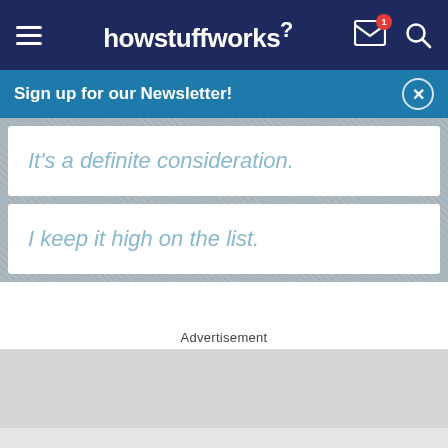howstuffworks
Sign up for our Newsletter!
It's a definite consideration.
I keep it high on the list.
Advertisement